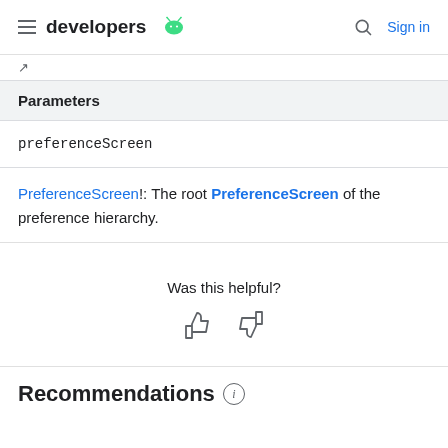developers [android logo] | Sign in
| Parameters |
| --- |
| preferenceScreen |
PreferenceScreen!: The root PreferenceScreen of the preference hierarchy.
Was this helpful?
Recommendations